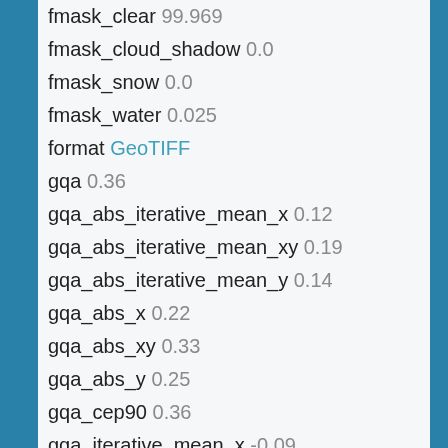fmask_clear 99.969
fmask_cloud_shadow 0.0
fmask_snow 0.0
fmask_water 0.025
format GeoTIFF
gqa 0.36
gqa_abs_iterative_mean_x 0.12
gqa_abs_iterative_mean_xy 0.19
gqa_abs_iterative_mean_y 0.14
gqa_abs_x 0.22
gqa_abs_xy 0.33
gqa_abs_y 0.25
gqa_cep90 0.36
gqa_iterative_mean_x -0.09
gqa_iterative_mean_xy 0.1
gqa_iterative_mean_y 0.03
gqa_iterative_stddev_x 0.12
gqa_iterative_stddev_xy 0.21
gqa_iterative_stddev_y 0.17
gqa_mean_x -0.11